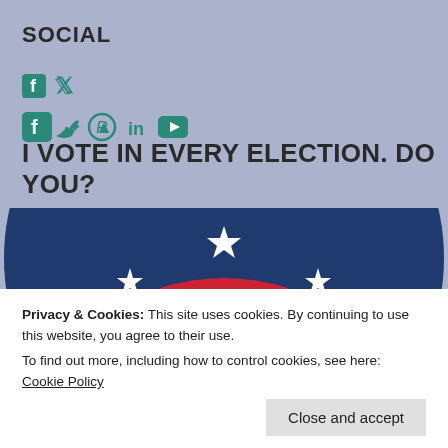SOCIAL
[Figure (illustration): Social media icons: Facebook, Twitter, Pinterest, LinkedIn, YouTube in teal/green color]
I VOTE IN EVERY ELECTION. DO YOU?
[Figure (illustration): Patriotic voting illustration: a large circular badge with dark blue background, white stars, and red/white/blue ballot box design in the center, partially cropped at bottom]
Privacy & Cookies: This site uses cookies. By continuing to use this website, you agree to their use.
To find out more, including how to control cookies, see here: Cookie Policy
Close and accept